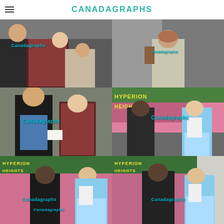CANADAGRAPHS
[Figure (photo): Candid photo of people on a film set, watermarked with 'Canadagraphs' in teal]
[Figure (photo): Candid photo of a person viewed from behind near a stone structure, watermarked with 'Canadagraphs']
[Figure (photo): Candid photo of two actors on a film set, man in black jacket and woman in plaid, watermarked 'Canadagraphs']
[Figure (photo): Candid photo of actors near graffiti wall including woman in Alice in Wonderland costume, watermarked 'Canadagraphs']
[Figure (photo): Candid photo near graffiti/Hyperion Heights wall with woman in Alice costume, watermarked 'Canadagraphs']
[Figure (photo): Candid photo near graffiti/Hyperion Heights wall with actors, watermarked 'Canadagraphs']